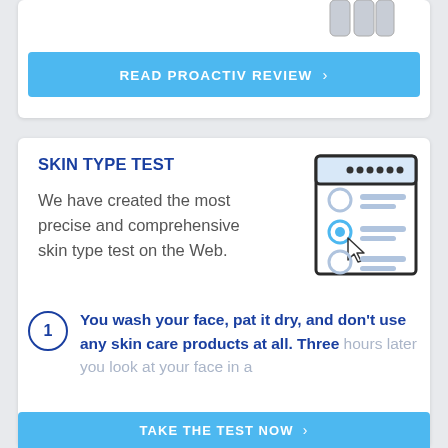[Figure (photo): Partial view of product bottles/containers at top right of page (cropped)]
READ PROACTIV REVIEW ›
SKIN TYPE TEST
We have created the most precise and comprehensive skin type test on the Web.
[Figure (illustration): Icon of a clipboard/form with radio buttons and a cursor arrow clicking one option]
1 You wash your face, pat it dry, and don't use any skin care products at all. Three hours later you look at your face in a
TAKE THE TEST NOW ›